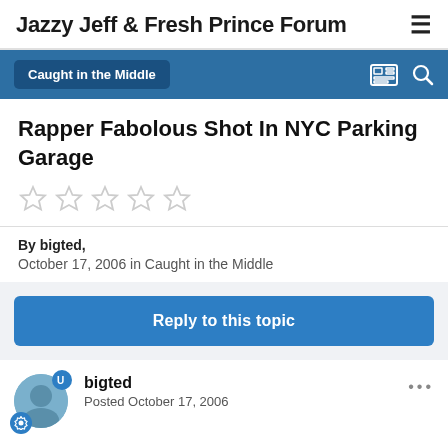Jazzy Jeff & Fresh Prince Forum
Caught in the Middle
Rapper Fabolous Shot In NYC Parking Garage
By bigted,
October 17, 2006 in Caught in the Middle
Reply to this topic
bigted
Posted October 17, 2006